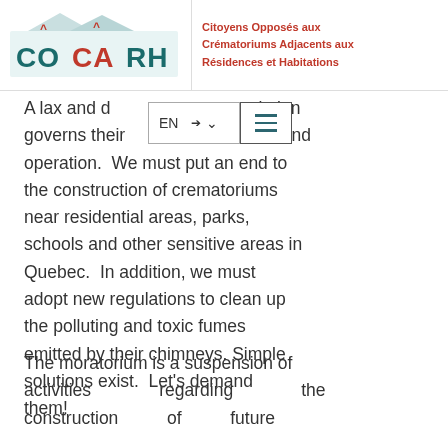[Figure (logo): COCARH logo with text: Citoyens Opposés aux Crématoriums Adjacents aux Résidences et Habitations]
A lax and disorderly regulation governs their construction and operation. We must put an end to the construction of crematoriums near residential areas, parks, schools and other sensitive areas in Quebec. In addition, we must adopt new regulations to clean up the polluting and toxic fumes emitted by their chimneys. Simple solutions exist. Let's demand them!
The moratorium is a suspension of activities regarding the construction of future crematoriums in sensitive areas...